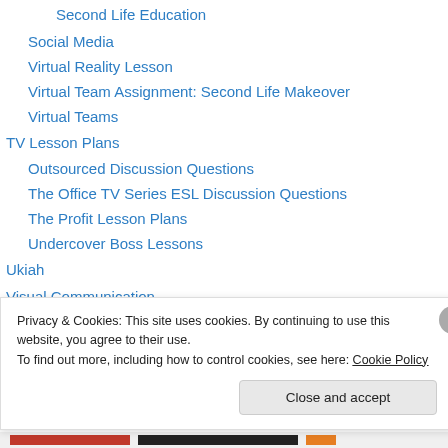Second Life Education
Social Media
Virtual Reality Lesson
Virtual Team Assignment: Second Life Makeover
Virtual Teams
TV Lesson Plans
Outsourced Discussion Questions
The Office TV Series ESL Discussion Questions
The Profit Lesson Plans
Undercover Boss Lessons
Ukiah
Visual Communication
Graphic Organizers
Graphic Organizer Evaluation Form
Privacy & Cookies: This site uses cookies. By continuing to use this website, you agree to their use.
To find out more, including how to control cookies, see here: Cookie Policy
Close and accept